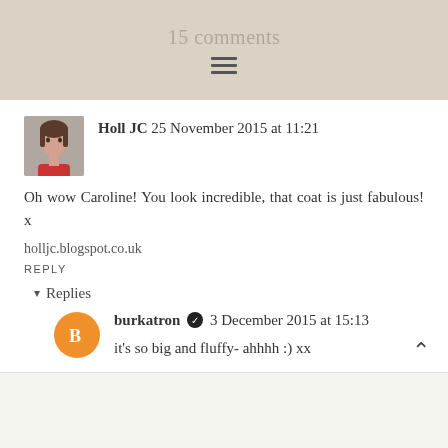15 comments
Holl JC 25 November 2015 at 11:21
Oh wow Caroline! You look incredible, that coat is just fabulous! x
holljc.blogspot.co.uk
REPLY
▾ Replies
burkatron ✔ 3 December 2015 at 15:13
it's so big and fluffy- ahhhh :) xx